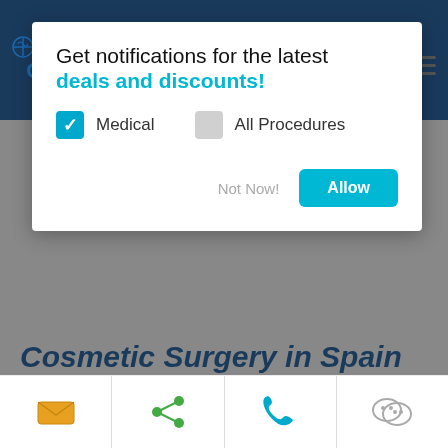[Figure (screenshot): Medical Tourism Corporation logo with stethoscope icon, blue and teal text]
[Figure (other): Hamburger menu icon (three horizontal lines)]
Get notifications for the latest deals and discounts!
Medical   All Procedures
Not Now!   Allow
Cosmetic Surgery in Spain
Overview | Prices | Plastic Surgeons |
Hospitals | Procedures | Tourism | Reviews |
FAQ's
[Figure (other): Bottom toolbar with email, share, phone, and WeChat icons]